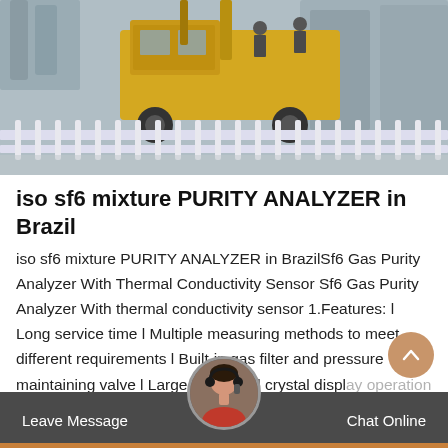[Figure (photo): Industrial scene with a yellow truck/crane vehicle near large electrical equipment (transformers or similar), with a white fence in the foreground and grey industrial structures in the background.]
iso sf6 mixture PURITY ANALYZER in Brazil
iso sf6 mixture PURITY ANALYZER in BrazilSf6 Gas Purity Analyzer With Thermal Conductivity Sensor Sf6 Gas Purity Analyzer With thermal conductivity sensor 1.Features: l Long service time l Multiple measuring methods to meet different requirements l Built-in gas filter and pressure maintaining valve l Large-size liquid crystal display operation l User can calibrate on site l Easy...
Leave Message  Chat Online